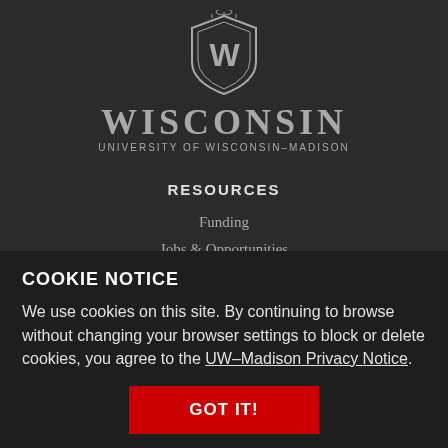[Figure (logo): University of Wisconsin-Madison shield logo with W emblem]
WISCONSIN
UNIVERSITY OF WISCONSIN–MADISON
RESOURCES
Funding
Jobs & Opportunities
Podcast
Library Resources
COOKIE NOTICE
We use cookies on this site. By continuing to browse without changing your browser settings to block or delete cookies, you agree to the UW–Madison Privacy Notice.
GOT IT!